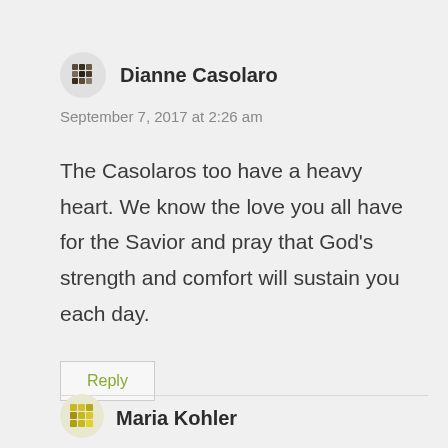[Figure (illustration): Avatar icon — decorative geometric/mosaic circle pattern, dark grey/brown tones]
Dianne Casolaro
September 7, 2017 at 2:26 am
The Casolaros too have a heavy heart. We know the love you all have for the Savior and pray that God’s strength and comfort will sustain you each day.
Reply
[Figure (illustration): Partially visible avatar icon at bottom — yellow/gold mosaic circle pattern]